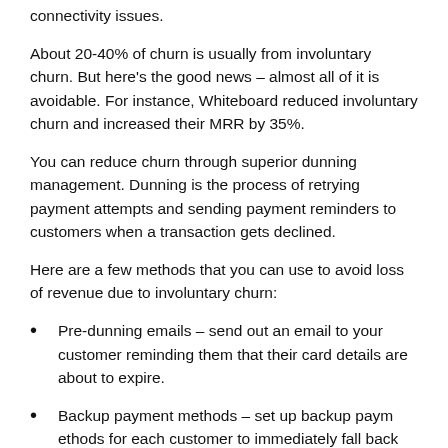connectivity issues.
About 20-40% of churn is usually from involuntary churn. But here's the good news – almost all of it is avoidable. For instance, Whiteboard reduced involuntary churn and increased their MRR by 35%.
You can reduce churn through superior dunning management. Dunning is the process of retrying payment attempts and sending payment reminders to customers when a transaction gets declined.
Here are a few methods that you can use to avoid loss of revenue due to involuntary churn:
Pre-dunning emails – send out an email to your customer reminding them that their card details are about to expire.
Backup payment methods – set up backup payment methods for each customer to immediately fall back on when the first payment method fails.
Create dunning personas – group your customers